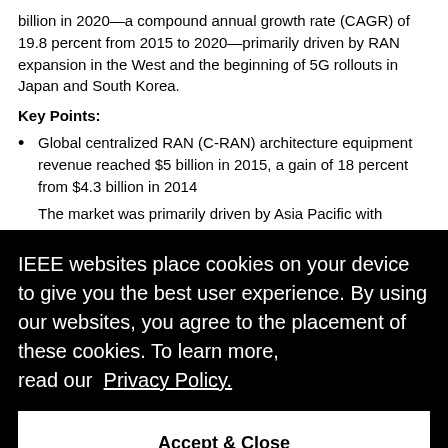billion in 2020—a compound annual growth rate (CAGR) of 19.8 percent from 2015 to 2020—primarily driven by RAN expansion in the West and the beginning of 5G rollouts in Japan and South Korea.
Key Points:
Global centralized RAN (C-RAN) architecture equipment revenue reached $5 billion in 2015, a gain of 18 percent from $4.3 billion in 2014
[Cookie overlay obscuring content] IEEE websites place cookies on your device to give you the best user experience. By using our websites, you agree to the placement of these cookies. To learn more, read our Privacy Policy.
Accept & Close